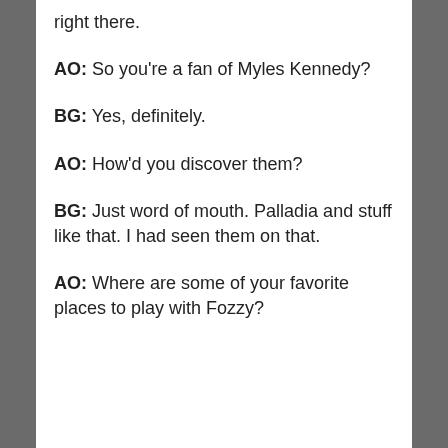right there.
AO: So you're a fan of Myles Kennedy?
BG: Yes, definitely.
AO: How'd you discover them?
BG: Just word of mouth. Palladia and stuff like that. I had seen them on that.
AO: Where are some of your favorite places to play with Fozzy?